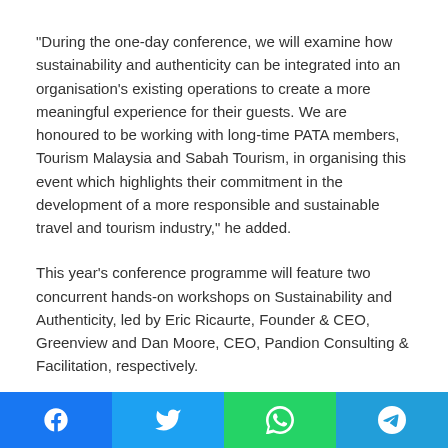“During the one-day conference, we will examine how sustainability and authenticity can be integrated into an organisation’s existing operations to create a more meaningful experience for their guests. We are honoured to be working with long-time PATA members, Tourism Malaysia and Sabah Tourism, in organising this event which highlights their commitment in the development of a more responsible and sustainable travel and tourism industry,” he added.
This year’s conference programme will feature two concurrent hands-on workshops on Sustainability and Authenticity, led by Eric Ricaurte, Founder & CEO, Greenview and Dan Moore, CEO, Pandion Consulting & Facilitation, respectively.
Other confirmed speakers include Graham Harper, Director –